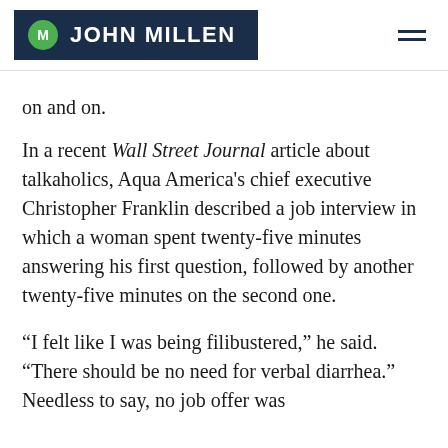M JOHN MILLEN
on and on.
In a recent Wall Street Journal article about talkaholics, Aqua America's chief executive Christopher Franklin described a job interview in which a woman spent twenty-five minutes answering his first question, followed by another twenty-five minutes on the second one.
“I felt like I was being filibustered,” he said. “There should be no need for verbal diarrhea.” Needless to say, no job offer was